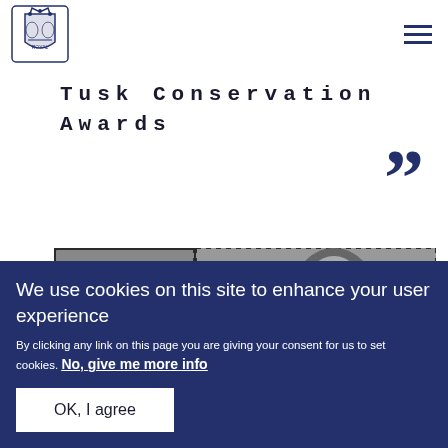Tusk Conservation Awards — header with royal crest logo and hamburger menu
Tusk Conservation Awards
[Figure (illustration): Large navy closing double-quotation mark]
[Figure (photo): Black and white postage stamps showing portraits of two people, labeled 'st' and '2nd']
We use cookies on this site to enhance your user experience
By clicking any link on this page you are giving your consent for us to set cookies. No, give me more info
OK, I agree